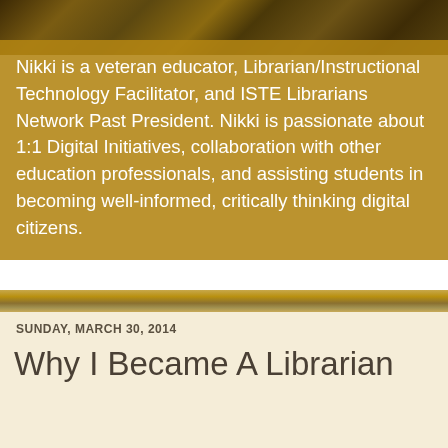[Figure (photo): Aged/antique textured background image with dark brown and gold tones at the top of the page]
Nikki is a veteran educator, Librarian/Instructional Technology Facilitator, and ISTE Librarians Network Past President. Nikki is passionate about 1:1 Digital Initiatives, collaboration with other education professionals, and assisting students in becoming well-informed, critically thinking digital citizens.
SUNDAY, MARCH 30, 2014
Why I Became A Librarian